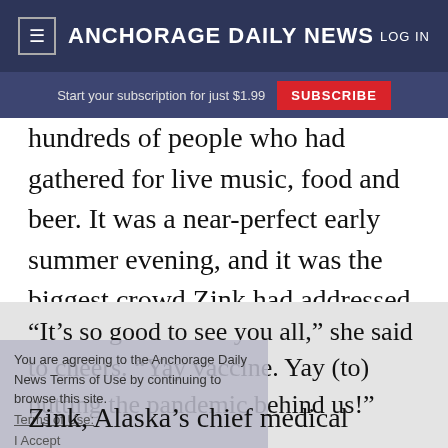≡  ANCHORAGE DAILY NEWS  LOG IN
Start your subscription for just $1.99  SUBSCRIBE
hundreds of people who had gathered for live music, food and beer. It was a near-perfect early summer evening, and it was the biggest crowd Zink had addressed in person since the coronavirus first reached Alaska.
“It’s so good to see you all,” she said to cheers. “Yay vaccine. Yay (to) putting the pandemic behind us!”
You are agreeing to the Anchorage Daily News Terms of Use by continuing to browse this site.
Terms of Use:
I Accept
Zink, Alaska’s chief medical officer and the state’s most recognizable leader in the COVID-19 battle, said it felt different. Though she has spoken to the public countless times during the past 15 months